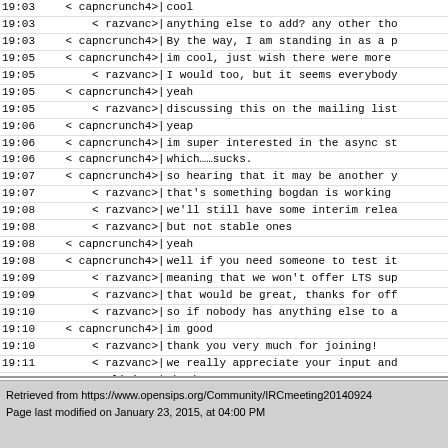19:03 < capncrunch4>| cool
19:03 <     razvanc>| anything else to add? any other tho
19:03 < capncrunch4>| By the way, I am standing in as a p
19:05 < capncrunch4>| im cool, just wish there were more
19:05 <     razvanc>| I would too, but it seems everybody
19:05 < capncrunch4>| yeah
19:05 <     razvanc>| discussing this on the mailing list
19:06 < capncrunch4>| yeap
19:06 < capncrunch4>| im super interested in the async st
19:06 < capncrunch4>| which……sucks.
19:07 < capncrunch4>| so hearing that it may be another y
19:07 <     razvanc>| that's something bogdan is working
19:08 <     razvanc>| we'll still have some interim relea
19:08 <     razvanc>| but not stable ones
19:08 < capncrunch4>| yeah
19:08 < capncrunch4>| well if you need someone to test it
19:09 <     razvanc>| meaning that we won't offer LTS sup
19:09 <     razvanc>| that would be great, thanks for off
19:10 <     razvanc>| so if nobody has anything else to a
19:10 < capncrunch4>| im good
19:10 <     razvanc>| thank you very much for joining!
19:11 <     razvanc>| we really appreciate your input and
19:11 <      liviuc>| thank you!
19:12 <     razvanc>| I will post the conclusions of this
19:12 <      liviuc>| make sure to reply on the list to r
Retrieved from https://www.opensips.org/Community/IRCmeeting20140924
Page last modified on January 23, 2015, at 04:00 PM